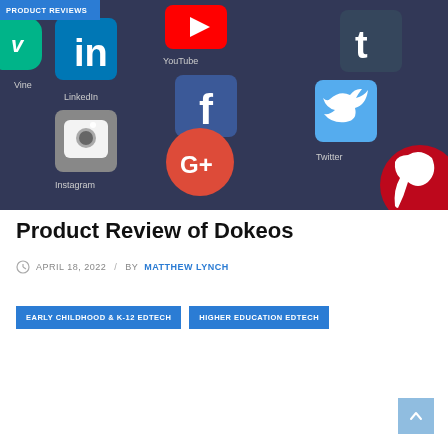[Figure (photo): Close-up photo of a smartphone screen showing social media app icons including LinkedIn, Facebook, Twitter, Instagram, Google+, YouTube, Tumblr, Vine, and Pinterest on a dark background. A blue badge overlay in the top-left reads PRODUCT REVIEWS.]
Product Review of Dokeos
APRIL 18, 2022 / BY MATTHEW LYNCH
EARLY CHILDHOOD & K-12 EDTECH
HIGHER EDUCATION EDTECH